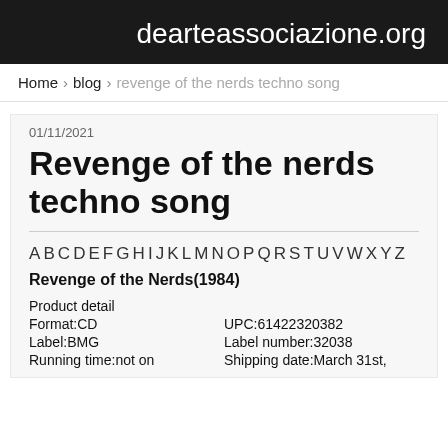dearteassociazione.org
Home › blog › revenge of the nerds techno song
01/11/2021
Revenge of the nerds techno song
ABCDEFGHIJKLMNOPQRSTUVWXYZ
Revenge of the Nerds(1984)
| Product detail |  |
| Format:CD | UPC:61422320382 |
| Label:BMG | Label number:32038 |
| Running time:not on | Shipping date:March 31st, |